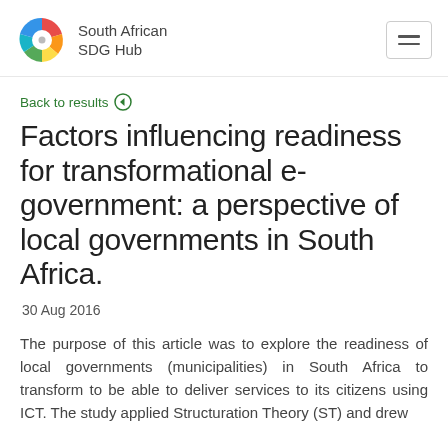South African SDG Hub
Back to results
Factors influencing readiness for transformational e-government: a perspective of local governments in South Africa.
30 Aug 2016
The purpose of this article was to explore the readiness of local governments (municipalities) in South Africa to transform to be able to deliver services to its citizens using ICT. The study applied Structuration Theory (ST) and drew